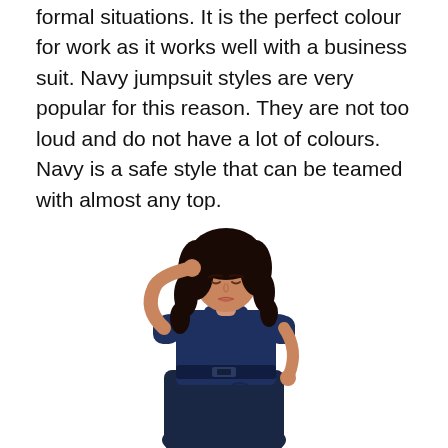formal situations. It is the perfect colour for work as it works well with a business suit. Navy jumpsuit styles are very popular for this reason. They are not too loud and do not have a lot of colours. Navy is a safe style that can be teamed with almost any top.
[Figure (photo): A woman with dark curly hair wearing a navy short-sleeve belted jumpsuit, posing with one hand raised to her hair and the other in her pocket, looking downward, on a white background.]